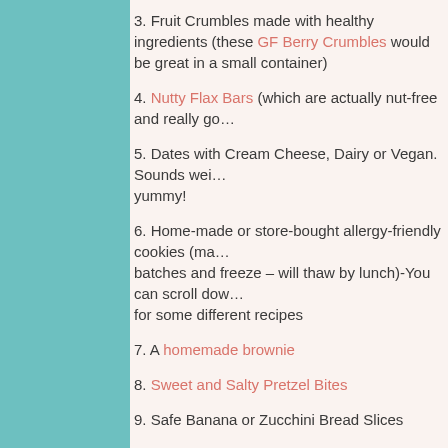3. Fruit Crumbles made with healthy ingredients (these GF Berry Crumbles would be great in a small container)
4. Nutty Flax Bars (which are actually nut-free and really go…
5. Dates with Cream Cheese, Dairy or Vegan.  Sounds wei… yummy!
6.  Home-made or store-bought allergy-friendly cookies (ma… batches and freeze – will thaw by lunch)-You can scroll dow… for some different recipes
7.  A homemade brownie
8.  Sweet and Salty Pretzel Bites
9.  Safe Banana or Zucchini Bread Slices
10. Lara Bars or Vixi Bars (If your child or your school is no…
Try to mix and match your choices each day, throw in a not… put a smile on your child's face, and arm yourself with some… friendly reusable lunch containers.  You really cannot go wr… their lunch boxes with whole grain, plant based options, an… highly processed, nutrient void convenience foods.  Have f…